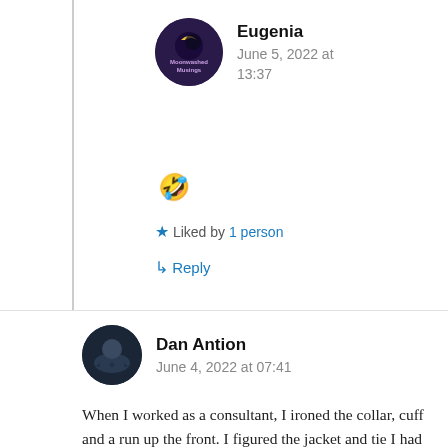[Figure (photo): Circular avatar for Moonwashed Musings blog, dark purple/blue background with moon and text]
Eugenia
June 5, 2022 at 13:37
🤣
★ Liked by 1 person
↳ Reply
[Figure (photo): Circular avatar of Dan Antion, man sitting outdoors]
Dan Antion
June 4, 2022 at 07:41
When I worked as a consultant, I ironed the collar, cuff and a run up the front. I figured the jacket and tie I had to wear all day covered